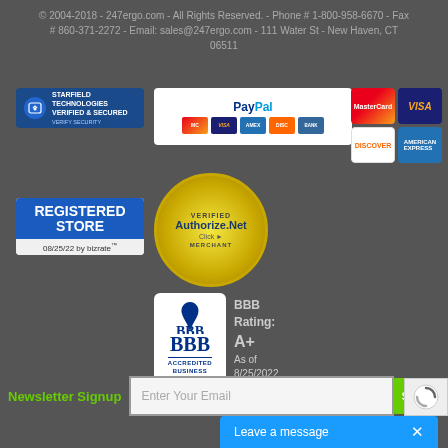© 2004-2018 - 247ergo.com - All Rights Reserved. - Phone # 1-800-958-6670 - Fax # 860-371-2272 - Email: sales@247ergo.com - 111 Water St - New Haven, CT 06511
[Figure (logo): Starfield Technologies Verified & Secured badge]
[Figure (logo): PayPal accepted payment methods badge showing MasterCard, VISA, AMEX, Discover, Bank]
[Figure (logo): MasterCard, VISA, Discover, and American Express card logos]
[Figure (logo): Registered Store 08/25/22 by bizrate badge]
[Figure (logo): Authorize.Net Verified Merchant seal]
[Figure (logo): BBB Accredited Business badge with BBB Rating: A+ As of 8/25/2022 Click for Profile]
Newsletter Signup
Leave a message